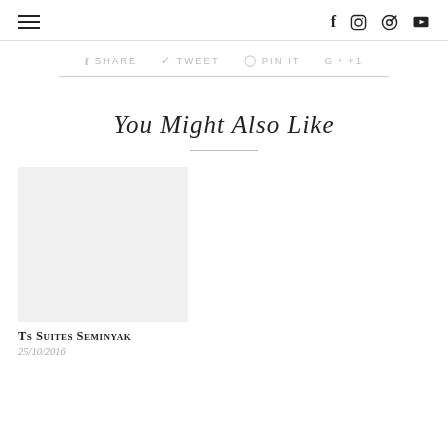≡  f  ⊙  ⊕  ▶
f SHARE   🐦 TWEET   ⊕ PIN IT   G+ +1
You Might Also Like
[Figure (photo): Blank placeholder image for Ts Suites Seminyak article]
Ts Suites Seminyak
25/10/2016